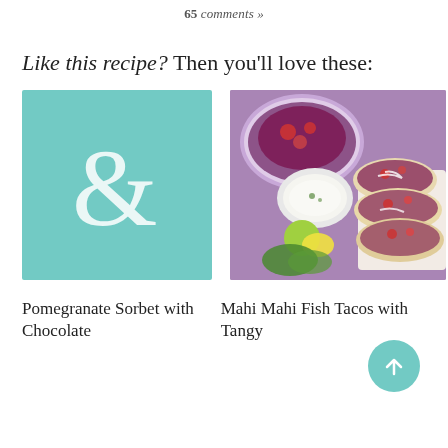65 comments »
Like this recipe? Then you'll love these:
[Figure (illustration): Teal/mint background with a large white ampersand symbol, representing a recipe placeholder image.]
[Figure (photo): Food photo showing Mahi Mahi Fish Tacos with tangy slaw, red cabbage, tomatoes, lime, cilantro, and a white dipping sauce on a purple background.]
Pomegranate Sorbet with Chocolate
Mahi Mahi Fish Tacos with Tangy